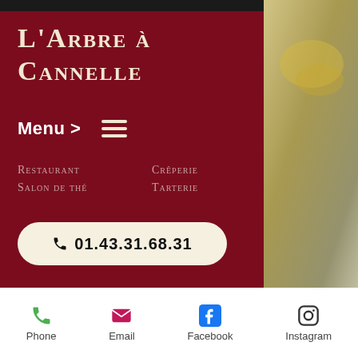L'Arbre à Cannelle
Menu >
Restaurant
Salon de thé
Crêperie
Tarterie
📞 01.43.31.68.31
Phone   Email   Facebook   Instagram